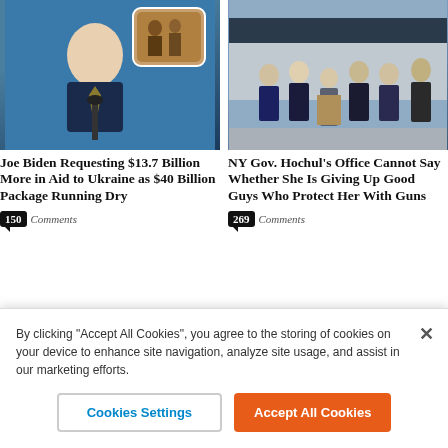[Figure (photo): Photo of Joe Biden speaking at a podium, with a small inset photo of people in the upper right corner]
[Figure (photo): Photo of NY Gov. Hochul and officials standing at an outdoor press conference near a large vehicle]
Joe Biden Requesting $13.7 Billion More in Aid to Ukraine as $40 Billion Package Running Dry
150 Comments
NY Gov. Hochul’s Office Cannot Say Whether She Is Giving Up Good Guys Who Protect Her With Guns
269 Comments
[Figure (photo): Partial photo of a man with light/gray hair, cropped at top of page bottom section]
[Figure (photo): Partial photo of a woman with dark hair, cropped at top of page bottom section]
By clicking “Accept All Cookies”, you agree to the storing of cookies on your device to enhance site navigation, analyze site usage, and assist in our marketing efforts.
Cookies Settings
Accept All Cookies